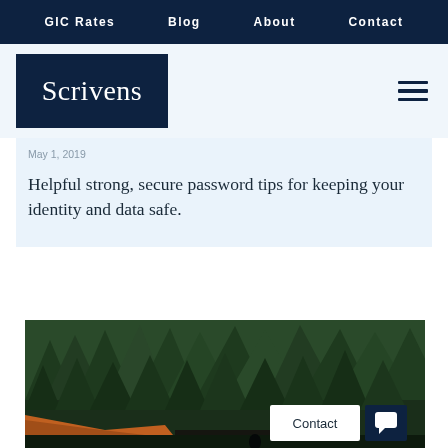GIC Rates   Blog   About   Contact
[Figure (logo): Scrivens logo on dark navy background]
May 1, 2019
Helpful strong, secure password tips for keeping your identity and data safe.
[Figure (photo): Forest landscape with green trees and orange/red hillside, person visible at bottom]